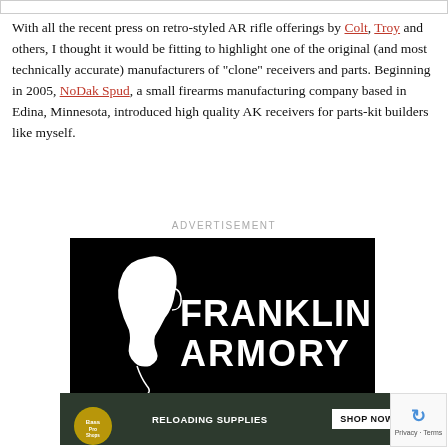With all the recent press on retro-styled AR rifle offerings by Colt, Troy and others, I thought it would be fitting to highlight one of the original (and most technically accurate) manufacturers of "clone" receivers and parts. Beginning in 2005, NoDak Spud, a small firearms manufacturing company based in Edina, Minnesota, introduced high quality AK receivers for parts-kit builders like myself.
ADVERTISEMENT
[Figure (logo): Franklin Armory advertisement — black background with white silhouette of Benjamin Franklin profile on the left and bold white text reading FRANKLIN ARMORY on the right]
[Figure (infographic): Bass Pro Shops banner advertisement — dark green background with Bass Pro Shops circular logo on the left, text RELOADING SUPPLIES in the center, and a white SHOP NOW button on the right]